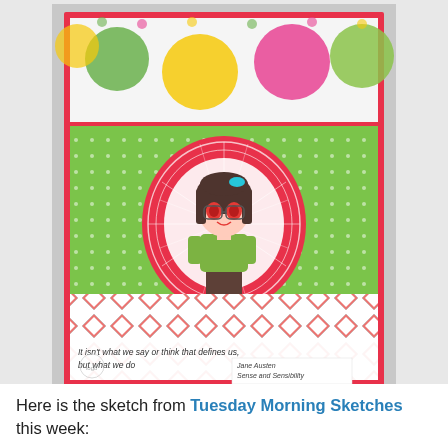[Figure (photo): A handmade greeting card featuring a chibi-style anime girl illustration wearing glasses and a green top, standing on a colorful diamond-pattern background. The card has polka dot paper at the top, green dot paper in the middle with a pink doily circle, and diamond pattern at the bottom. A quote reads: 'It isn't what we say or think that defines us, but what we do' attributed to Jane Austen, Sense and Sensibility.]
Here is the sketch from Tuesday Morning Sketches this week: